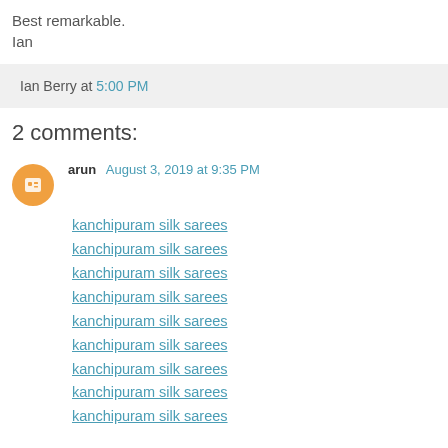Best remarkable.
Ian
Ian Berry at 5:00 PM
2 comments:
arun  August 3, 2019 at 9:35 PM
kanchipuram silk sarees
kanchipuram silk sarees
kanchipuram silk sarees
kanchipuram silk sarees
kanchipuram silk sarees
kanchipuram silk sarees
kanchipuram silk sarees
kanchipuram silk sarees
kanchipuram silk sarees